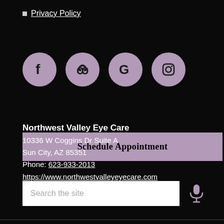Privacy Policy
[Figure (infographic): Four social media icons (Facebook, Yelp, Google, Instagram) as purple circles on black background]
Schedule Appointment
Search the site
Northwest Valley Eye Care
10336 W Coggins Dr Suite A
Sun City, AZ 85351
Phone: 623-933-2013
https://www.northwestvalleyeyecare.com